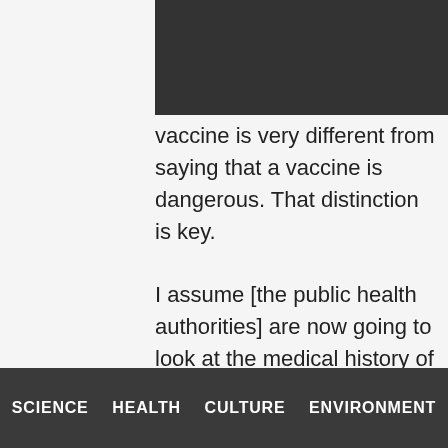[Figure (photo): Dark/black photo or image block at top right of page, partially visible]
vaccine is very different from saying that a vaccine is dangerous. That distinction is key.

I assume [the public health authorities] are now going to look at the medical history of these individuals; I have low expectations that they will find out exactly what happened with these individuals. But if they can identify a specific clinical condition in these patients that contributed to these adverse
SCIENCE   HEALTH   CULTURE   ENVIRONMENT